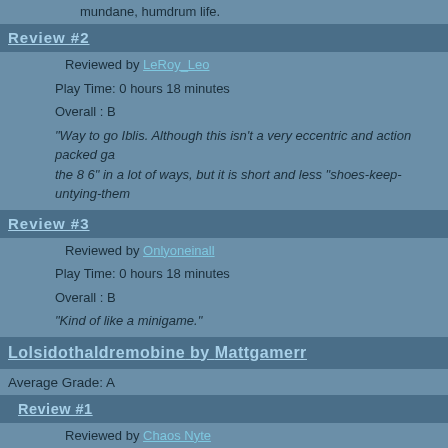mundane, humdrum life.
Review #2
Reviewed by LeRoy_Leo
Play Time: 0 hours 18 minutes
Overall : B
"Way to go Iblis. Although this isn't a very eccentric and action packed ga the 8 6" in a lot of ways, but it is short and less "shoes-keep-untying-them
Review #3
Reviewed by Onlyoneinall
Play Time: 0 hours 18 minutes
Overall : B
"Kind of like a minigame."
Lolsidothaldremobine by Mattgamerr
Average Grade: A
Review #1
Reviewed by Chaos Nyte
Play Time: hours minutes
Overall : A-
"Great game Matt. I hope you decide to contuine it, because I'd like to sa
Review #2
Reviewed by Pepsi Ranger
Play Time: hours minutes
Overall : A+